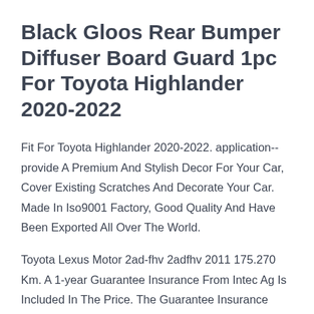Black Gloos Rear Bumper Diffuser Board Guard 1pc For Toyota Highlander 2020-2022
Fit For Toyota Highlander 2020-2022. application-- provide A Premium And Stylish Decor For Your Car, Cover Existing Scratches And Decorate Your Car. Made In Iso9001 Factory, Good Quality And Have Been Exported All Over The World.
Toyota Lexus Motor 2ad-fhv 2adfhv 2011 175.270 Km. A 1-year Guarantee Insurance From Intec Ag Is Included In The Price. The Guarantee Insurance Applies To Vehicles Used Both Privately And